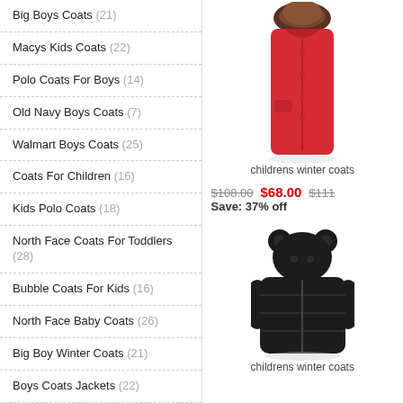Big Boys Coats (21)
Macys Kids Coats (22)
Polo Coats For Boys (14)
Old Navy Boys Coats (7)
Walmart Boys Coats (25)
Coats For Children (16)
Kids Polo Coats (18)
North Face Coats For Toddlers (28)
Bubble Coats For Kids (16)
North Face Baby Coats (26)
Big Boy Winter Coats (21)
Boys Coats Jackets (22)
Sam Coats For Kids (21)
Shearling Coats For Kids (6)
Kids Coats Jackets (18)
[Figure (photo): Red childrens winter coat with fur-trimmed hood]
childrens winter coats
$108.00  $68.00  $111
Save: 37% off
[Figure (photo): Black puffy childrens winter coat with bear ear hood]
childrens winter coats